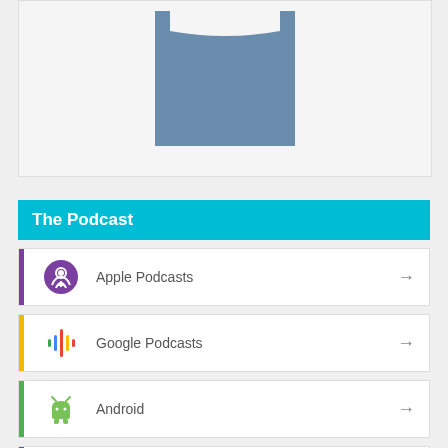[Figure (photo): Partial view of a blue-grey t-shirt displayed against a light grey background]
The Podcast
Apple Podcasts
Google Podcasts
Android
by Email
RSS